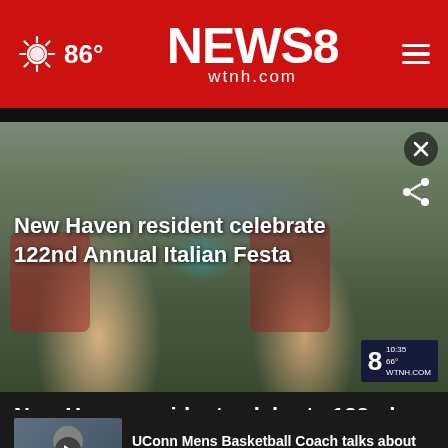NEWS 8 wtnh.com — 86°
[Figure (screenshot): Video still of two elderly men wearing red vests and Italian-flag hats playing guitar and mandolin at an outdoor festival booth. Text overlay reads: New Haven resident celebrate 122nd Annual Italian Festa]
New Haven resident celebrate 122nd...
[Figure (photo): Thumbnail of a man being interviewed, partially visible]
UConn Mens Basketball Coach talks about the Huskies ...